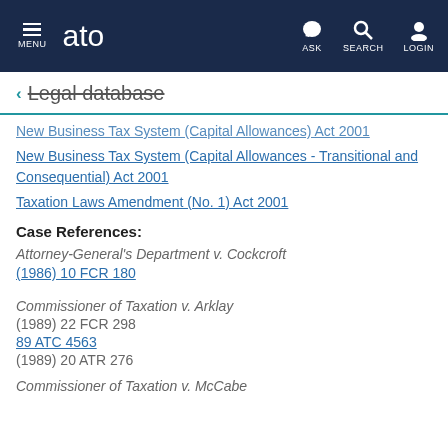MENU | ato | ASK | SEARCH | LOGIN
← Legal database
New Business Tax System (Capital Allowances) Act 2001
New Business Tax System (Capital Allowances - Transitional and Consequential) Act 2001
Taxation Laws Amendment (No. 1) Act 2001
Case References:
Attorney-General's Department v. Cockcroft
(1986) 10 FCR 180
Commissioner of Taxation v. Arklay
(1989) 22 FCR 298
89 ATC 4563
(1989) 20 ATR 276
Commissioner of Taxation v. McCabe